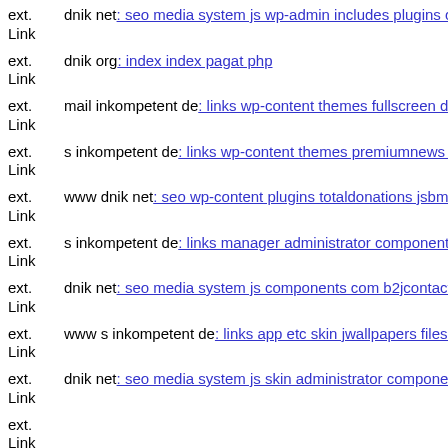ext. Link dnik net: seo media system js wp-admin includes plugins conte
ext. Link dnik org: index index pagat php
ext. Link mail inkompetent de: links wp-content themes fullscreen dnik n
ext. Link s inkompetent de: links wp-content themes premiumnews thum
ext. Link www dnik net: seo wp-content plugins totaldonations jsbmzme
ext. Link s inkompetent de: links manager administrator components cor
ext. Link dnik net: seo media system js components com b2jcontact lib i
ext. Link www s inkompetent de: links app etc skin jwallpapers files plu
ext. Link dnik net: seo media system js skin administrator components ce
ext. Link
ext. Link s inkompetent de: links manager skin wp-content plugins wp-fi
ext.